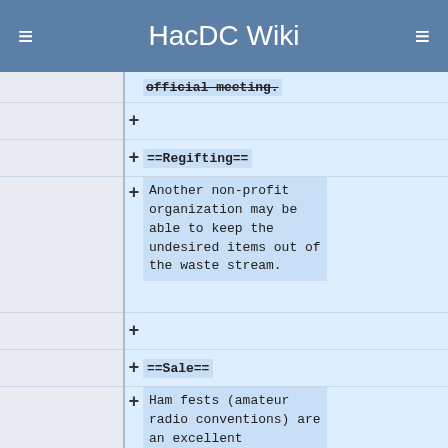HacDC Wiki
official meeting.
==Regifting==
Another non-profit organization may be able to keep the undesired items out of the waste stream.
==Sale==
Ham fests (amateur radio conventions) are an excellent opportunity to obtain cash for junk. Proceeds should go to HacDC